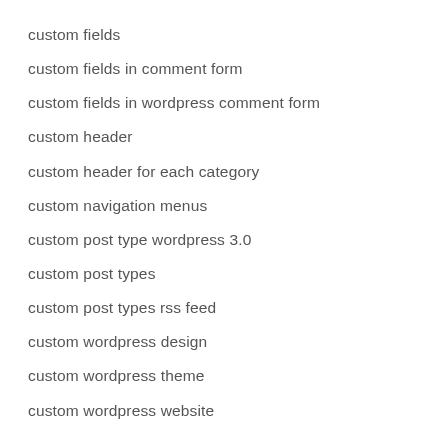custom fields
custom fields in comment form
custom fields in wordpress comment form
custom header
custom header for each category
custom navigation menus
custom post type wordpress 3.0
custom post types
custom post types rss feed
custom wordpress design
custom wordpress theme
custom wordpress website